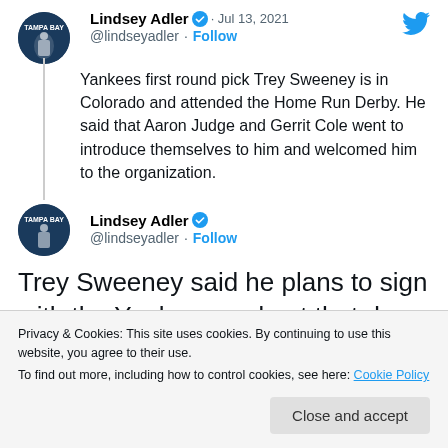[Figure (screenshot): Twitter/X screenshot showing two tweets by Lindsey Adler (@lindseyadler) with profile avatar, verified badge, Follow link, tweet text, and a cookie consent banner overlay at the bottom.]
Lindsey Adler ✓ · Jul 13, 2021
@lindseyadler · Follow
Yankees first round pick Trey Sweeney is in Colorado and attended the Home Run Derby. He said that Aaron Judge and Gerrit Cole went to introduce themselves to him and welcomed him to the organization.
Lindsey Adler ✓
@lindseyadler · Follow
Trey Sweeney said he plans to sign with the Yankees and get that done within the next week.
Privacy & Cookies: This site uses cookies. By continuing to use this website, you agree to their use.
To find out more, including how to control cookies, see here: Cookie Policy
Close and accept